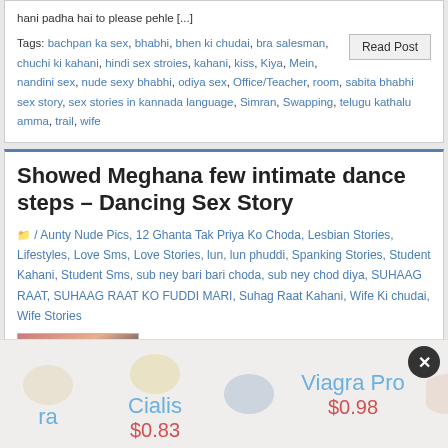hani padha hai to please pehle [...]
Tags: bachpan ka sex, bhabhi, bhen ki chudai, bra salesman, chuchi ki kahani, hindi sex stroies, kahani, kiss, Kiya, Mein, nandini sex, nude sexy bhabhi, odiya sex, Office/Teacher, room, sabita bhabhi sex story, sex stories in kannada language, Simran, Swapping, telugu kathalu amma, trail, wife
Showed Meghana few intimate dance steps – Dancing Sex Story
/ Aunty Nude Pics, 12 Ghanta Tak Priya Ko Choda, Lesbian Stories, Lifestyles, Love Sms, Love Stories, lun, lun phuddi, Spanking Stories, Student Kahani, Student Sms, sub ney bari bari choda, sub ney chod diya, SUHAAG RAAT, SUHAAG RAAT KO FUDDI MARI, Suhag Raat Kahani, Wife Ki chudai, Wife Stories
[Figure (photo): Thumbnail image showing blurred figures]
[Figure (infographic): Advertisement banner showing pills for ra, Cialis at $0.83, Viagra Pro at $0.98]